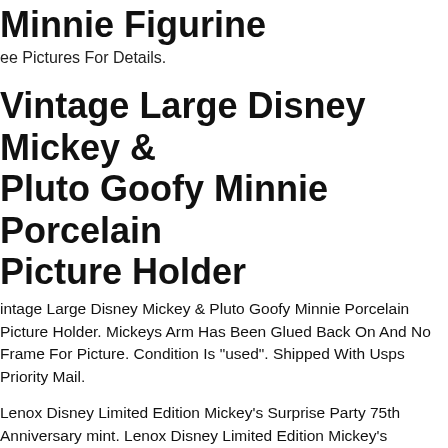Minnie Figurine
ee Pictures For Details.
Vintage Large Disney Mickey & Pluto Goofy Minnie Porcelain Picture Holder
intage Large Disney Mickey & Pluto Goofy Minnie Porcelain Picture Holder. Mickeys Arm Has Been Glued Back On And No Frame For Picture. Condition Is "used". Shipped With Usps Priority Mail.
Lenox Disney Limited Edition Mickey's Surprise Party 75th Anniversary mint. Lenox Disney Limited Edition Mickey's Surprise Party 75th Anniversary. Perfect Piece. Has Been On Shelf In Enclosed Cabinet For Years. Great Color And Detail. Would Make A Great Addition To Any Collection Or Display!
Disney Britta Goofy Figurine